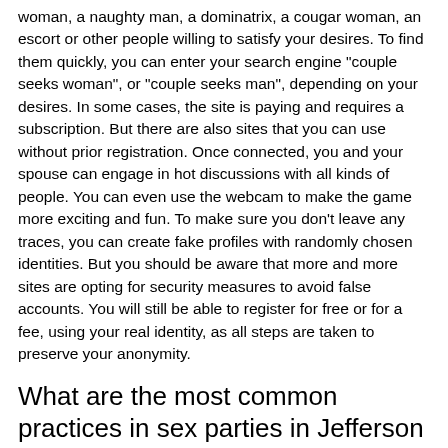woman, a naughty man, a dominatrix, a cougar woman, an escort or other people willing to satisfy your desires. To find them quickly, you can enter your search engine "couple seeks woman", or "couple seeks man", depending on your desires. In some cases, the site is paying and requires a subscription. But there are also sites that you can use without prior registration. Once connected, you and your spouse can engage in hot discussions with all kinds of people. You can even use the webcam to make the game more exciting and fun. To make sure you don't leave any traces, you can create fake profiles with randomly chosen identities. But you should be aware that more and more sites are opting for security measures to avoid false accounts. You will still be able to register for free or for a fee, using your real identity, as all steps are taken to preserve your anonymity.
What are the most common practices in sex parties in Jefferson City, Missouri?
If you are new to swinging, you should probably ask yourself what are the most common practices in this area. First of all, you should know that to find a booty call or an ephemeral relationship